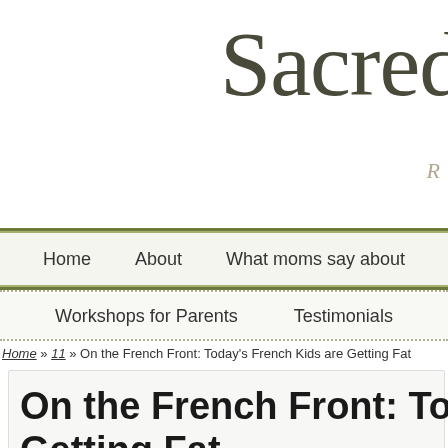Sacred
R
Home   About   What moms say about
Workshops for Parents   Testimonials
Home » 11 » On the French Front: Today's French Kids are Getting Fat
On the French Front: Today's
Getting Fat